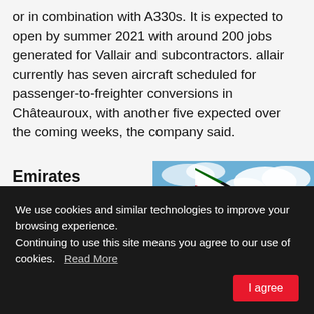or in combination with A330s. It is expected to open by summer 2021 with around 200 jobs generated for Vallair and subcontractors. allair currently has seven aircraft scheduled for passenger-to-freighter conversions in Châteauroux, with another five expected over the coming weeks, the company said.
Emirates SkyCargo marks preighter anniversary
[Figure (photo): Photo of an Emirates aircraft tail and fuselage showing the Emirates logo with red, green and black flag colors against a blue sky background. The registration A6-FQA is partially visible.]
We use cookies and similar technologies to improve your browsing experience.
Continuing to use this site means you agree to our use of cookies.   Read More